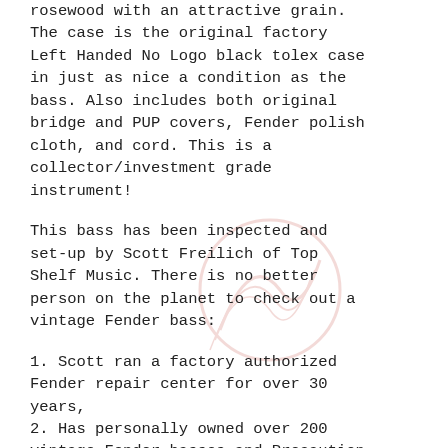rosewood with an attractive grain. The case is the original factory Left Handed No Logo black tolex case in just as nice a condition as the bass. Also includes both original bridge and PUP covers, Fender polish cloth, and cord. This is a collector/investment grade instrument!
This bass has been inspected and set-up by Scott Freilich of Top Shelf Music. There is no better person on the planet to check out a vintage Fender bass:
1. Scott ran a factory authorized Fender repair center for over 30 years,
2. Has personally owned over 200 vintage Fender basses and Precaution...